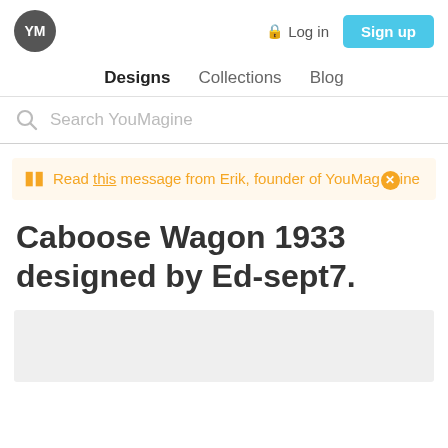YM | Log in | Sign up
Designs  Collections  Blog
Search YouMagine
Read this message from Erik, founder of YouMagine
Caboose Wagon 1933 designed by Ed-sept7.
[Figure (photo): Gray placeholder image area at the bottom of the page]